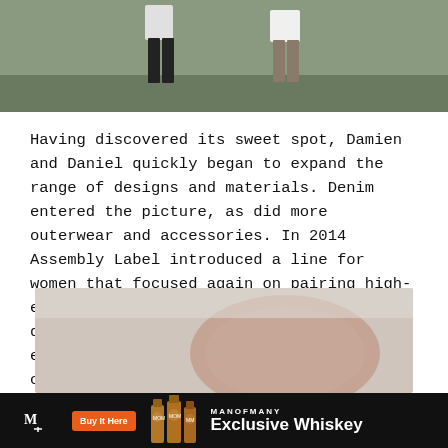[Figure (photo): Two men standing outdoors wearing dark clothing, lower portion of their bodies visible against a grassy background]
Having discovered its sweet spot, Damien and Daniel quickly began to expand the range of designs and materials. Denim entered the picture, as did more outerwear and accessories. In 2014 Assembly Label introduced a line for women that focused again on pairing high-end materials with functional, singular designs. An already strong reception grew even stronger and soon enough the brand could be found in over 200 stores worldwide.
[Figure (photo): Close-up product or fashion photo with a rounded oval shape in tan/peach tones against a light background]
[Figure (infographic): Man of Many advertisement banner with logo, Buy It Here button, whiskey bottles, and text reading MANOFMANY Exclusive Whiskey on black background]